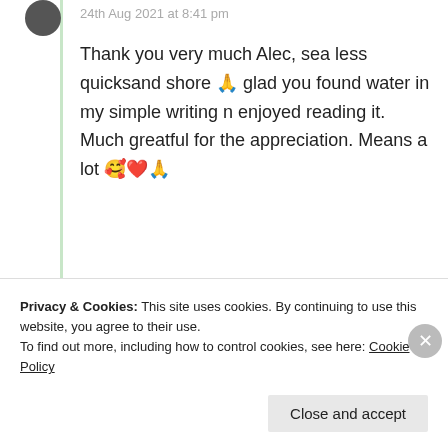24th Aug 2021 at 8:41 pm
Thank you very much Alec, sea less quicksand shore 🙏 glad you found water in my simple writing n enjoyed reading it. Much greatful for the appreciation. Means a lot 🥰❤️🙏
★ Like
Log in to Reply
Privacy & Cookies: This site uses cookies. By continuing to use this website, you agree to their use.
To find out more, including how to control cookies, see here: Cookie Policy
Close and accept